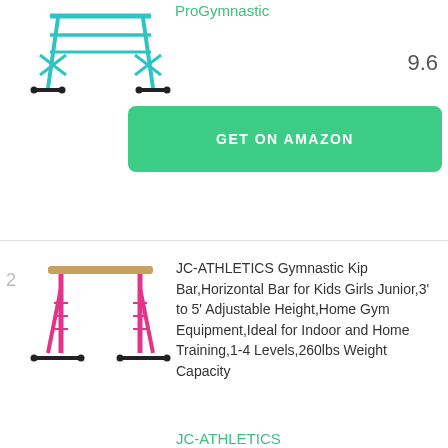[Figure (photo): Gymnastics kip bar product image, teal/cyan colored horizontal bar with black feet]
ProGymnastic
9.6
GET ON AMAZON
2  JC-ATHLETICS Gymnastic Kip Bar,Horizontal Bar for Kids Girls Junior,3' to 5' Adjustable Height,Home Gym Equipment,Ideal for Indoor and Home Training,1-4 Levels,260lbs Weight Capacity  JC-ATHLETICS  9.3
[Figure (photo): Gymnastics kip bar product image, pink colored horizontal bar with pink frame legs]
GET ON AMAZON
GLANT Gymnastic Kip Bar,Horizontal Bar for Kids Girls Junior,3' to 5' Adjustable Height,Home Gym Equipment,Ideal for Indoor and Home Training,1-4